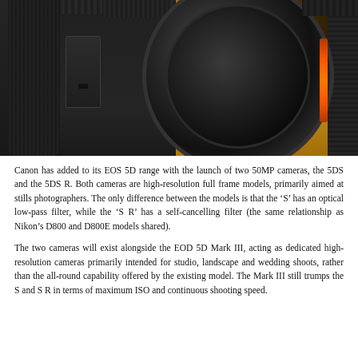[Figure (photo): Close-up photo of a Canon DSLR camera body and lens on a wooden surface. The black camera body occupies the left portion and a large lens with an orange ring is visible on the right.]
Canon has added to its EOS 5D range with the launch of two 50MP cameras, the 5DS and the 5DS R. Both cameras are high-resolution full frame models, primarily aimed at stills photographers. The only difference between the models is that the 'S' has an optical low-pass filter, while the 'S R' has a self-cancelling filter (the same relationship as Nikon's D800 and D800E models shared).
The two cameras will exist alongside the EOD 5D Mark III, acting as dedicated high-resolution cameras primarily intended for studio, landscape and wedding shoots, rather than the all-round capability offered by the existing model. The Mark III still trumps the S and S R in terms of maximum ISO and continuous shooting speed.